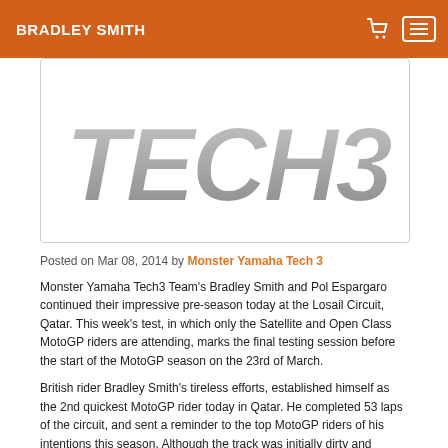BRADLEY SMITH
[Figure (logo): Tech3 team logo in grey block letters on white background]
Posted on Mar 08, 2014 by Monster Yamaha Tech 3
Monster Yamaha Tech3 Team's Bradley Smith and Pol Espargaro continued their impressive pre-season today at the Losail Circuit, Qatar. This week's test, in which only the Satellite and Open Class MotoGP riders are attending, marks the final testing session before the start of the MotoGP season on the 23rd of March.
British rider Bradley Smith's tireless efforts, established himself as the 2nd quickest MotoGP rider today in Qatar. He completed 53 laps of the circuit, and sent a reminder to the top MotoGP riders of his intentions this season. Although the track was initially dirty and lacked traction, it later cleared and the grip improved. This allowed the young British rider to complete today's session with a fastest